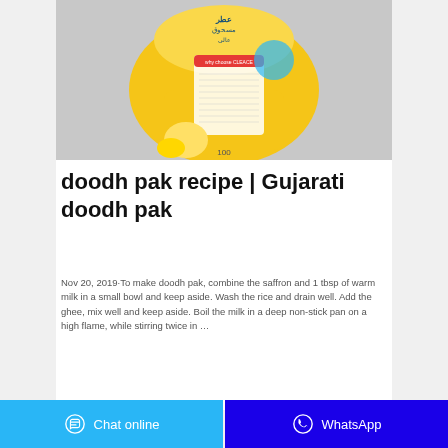[Figure (photo): A yellow packaging bag of a cleaning/detergent product with Arabic text, lemon imagery, and product label information on a gray background.]
doodh pak recipe | Gujarati doodh pak
Nov 20, 2019·To make doodh pak, combine the saffron and 1 tbsp of warm milk in a small bowl and keep aside. Wash the rice and drain well. Add the ghee, mix well and keep aside. Boil the milk in a deep non-stick pan on a high flame, while stirring twice in …
Chat online   WhatsApp